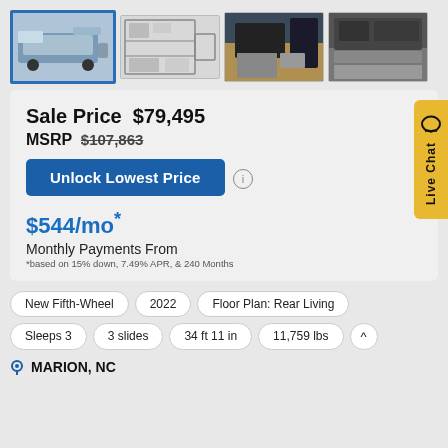[Figure (photo): Gallery of 4 RV images: exterior photo of fifth-wheel RV (selected/highlighted), floor plan diagram, interior kitchen photo 1, interior kitchen photo 2]
Sale Price  $79,495
MSRP  $107,863
Unlock Lowest Price
$544/mo*
Monthly Payments From
*based on 15% down, 7.49% APR, & 240 Months
Live Chat
New Fifth-Wheel
2022
Floor Plan: Rear Living
Sleeps 3
3 slides
34 ft 11 in
11,759 lbs
^
MARION, NC